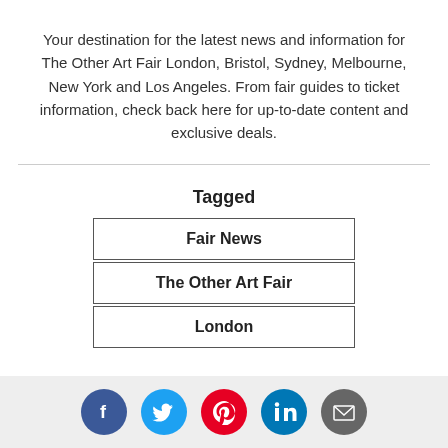Your destination for the latest news and information for The Other Art Fair London, Bristol, Sydney, Melbourne, New York and Los Angeles. From fair guides to ticket information, check back here for up-to-date content and exclusive deals.
Tagged
Fair News
The Other Art Fair
London